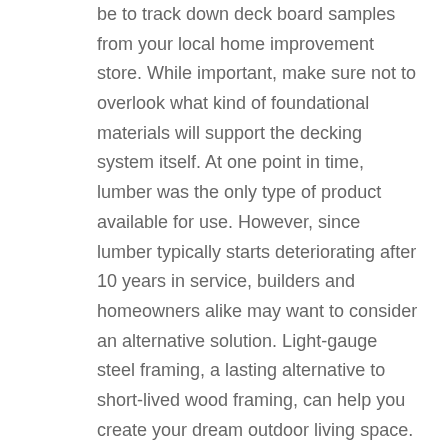be to track down deck board samples from your local home improvement store. While important, make sure not to overlook what kind of foundational materials will support the decking system itself. At one point in time, lumber was the only type of product available for use. However, since lumber typically starts deteriorating after 10 years in service, builders and homeowners alike may want to consider an alternative solution. Light-gauge steel framing, a lasting alternative to short-lived wood framing, can help you create your dream outdoor living space. It will also defend against a spendy decking overhaul later down the road.
Here are three tried-and-true ways steel framing can help you build a dream deck on a foundation that lasts: